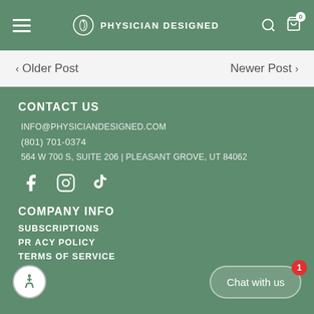PHYSICIAN DESIGNED
< Older Post    Newer Post >
CONTACT US
INFO@PHYSICIANDESIGNED.COM
(801) 701-0374
564 W 700 S, SUITE 206 | PLEASANT GROVE, UT 84062
[Figure (other): Social media icons: Facebook, Instagram, TikTok]
COMPANY INFO
SUBSCRIPTIONS
PRIVACY POLICY
TERMS OF SERVICE